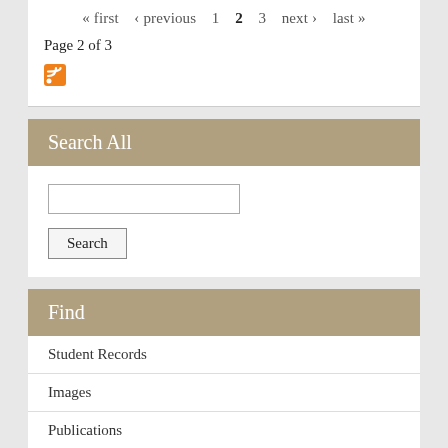« first  ‹ previous  1  2  3  next ›  last »
Page 2 of 3
[Figure (logo): RSS feed icon (orange square with white wifi signal)]
Search All
Search input field and Search button
Find
Student Records
Images
Publications